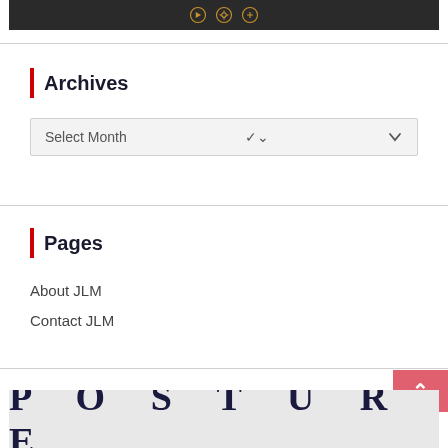[Figure (screenshot): Dark banner image with music streaming icons (music note, Spotify, Google Play Music) in golden/orange color]
Archives
Select Month
Pages
About JLM
Contact JLM
[Figure (photo): Image showing the word POSTURE in large serif letters, partially visible]